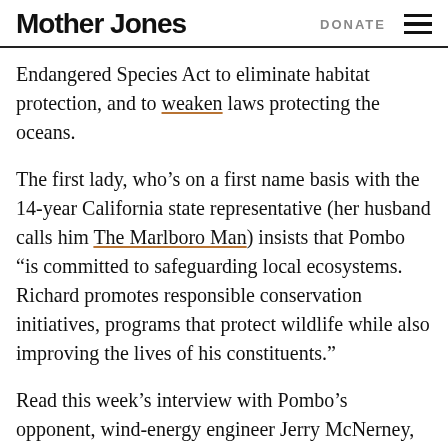Mother Jones  DONATE
Endangered Species Act to eliminate habitat protection, and to weaken laws protecting the oceans.
The first lady, who’s on a first name basis with the 14-year California state representative (her husband calls him The Marlboro Man) insists that Pombo “is committed to safeguarding local ecosystems. Richard promotes responsible conservation initiatives, programs that protect wildlife while also improving the lives of his constituents.”
Read this week’s interview with Pombo’s opponent, wind-energy engineer Jerry McNerney, who currently holds a 2-point lead, here.